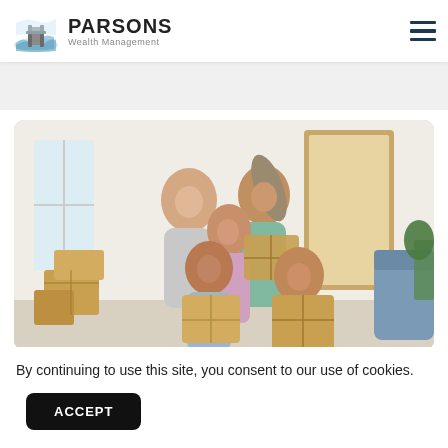PARSONS Wealth Management
[Figure (photo): A happy family of five carrying cardboard moving boxes inside a bright new home. Two adults and three children smiling.]
By continuing to use this site, you consent to our use of cookies.
ACCEPT